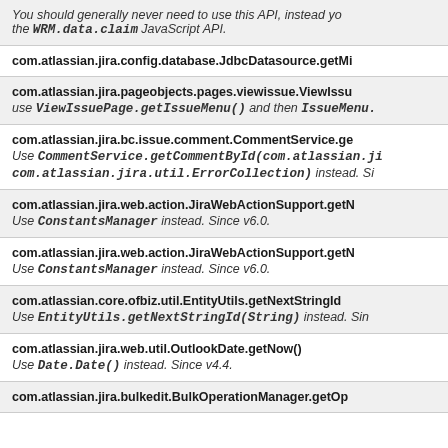You should generally never need to use this API, instead yo the WRM.data.claim JavaScript API.
com.atlassian.jira.config.database.JdbcDatasource.getMi
com.atlassian.jira.pageobjects.pages.viewissue.ViewIssu - use ViewIssuePage.getIssueMenu() and then IssueMenu.
com.atlassian.jira.bc.issue.comment.CommentService.ge - Use CommentService.getCommentById(com.atlassian.ji com.atlassian.jira.util.ErrorCollection) instead. Si
com.atlassian.jira.web.action.JiraWebActionSupport.getN - Use ConstantsManager instead. Since v6.0.
com.atlassian.jira.web.action.JiraWebActionSupport.getN - Use ConstantsManager instead. Since v6.0.
com.atlassian.core.ofbiz.util.EntityUtils.getNextStringId - Use EntityUtils.getNextStringId(String) instead. Sin
com.atlassian.jira.web.util.OutlookDate.getNow() - Use Date.Date() instead. Since v4.4.
com.atlassian.jira.bulkedit.BulkOperationManager.getOp